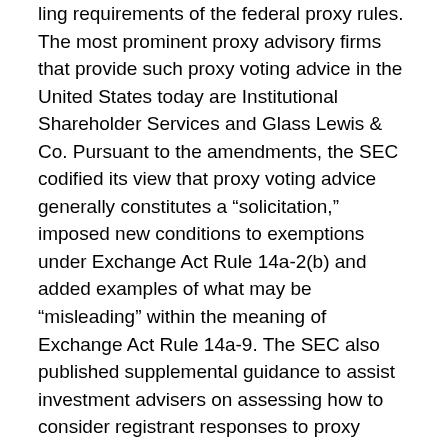ling requirements of the federal proxy rules. The most prominent proxy advisory firms that provide such proxy voting advice in the United States today are Institutional Shareholder Services and Glass Lewis & Co. Pursuant to the amendments, the SEC codified its view that proxy voting advice generally constitutes a “solicitation,” imposed new conditions to exemptions under Exchange Act Rule 14a-2(b) and added examples of what may be “misleading” within the meaning of Exchange Act Rule 14a-9. The SEC also published supplemental guidance to assist investment advisers on assessing how to consider registrant responses to proxy voting advice in light of the new amendments to the proxy rules.
The new rules have the potential to alter the dynamics between public companies and proxy advisory firms, with public companies gaining some leverage. The new rules have been criticized by some industry participants with an interest in maintaining the prior system.